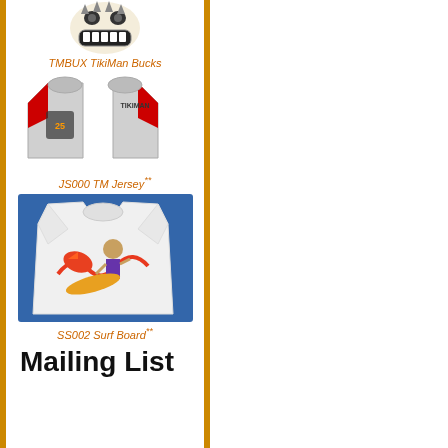[Figure (illustration): TikiMan logo/mascot — grinning tiki face graphic at top of left column]
TMBUX TikiMan Bucks
[Figure (photo): Baseball-style jersey/shirt with red sleeves and TikiMan graphic, shown front and back views]
JS000 TM Jersey**
[Figure (photo): White t-shirt showing TikiMan surfboard graphic on blue background]
SS002 Surf Board**
Mailing List